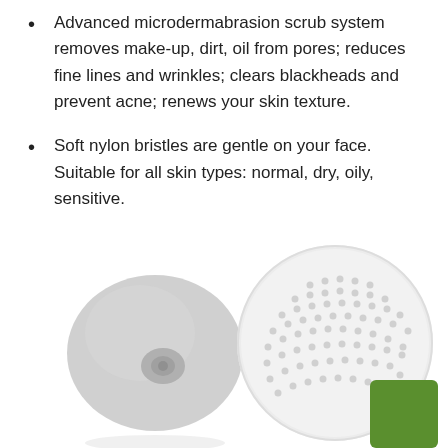Advanced microdermabrasion scrub system removes make-up, dirt, oil from pores; reduces fine lines and wrinkles; clears blackheads and prevent acne; renews your skin texture.
Soft nylon bristles are gentle on your face. Suitable for all skin types: normal, dry, oily, sensitive.
[Figure (photo): Two facial cleansing brush heads: left shows side/back view of a round gray silicone brush with suction cup base; right shows front view of a white silicone brush with nylon bristle dots pattern. A green square badge is in the bottom-right corner.]